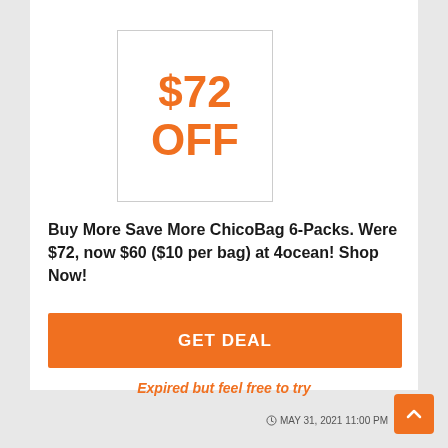[Figure (infographic): Discount badge showing '$72 OFF' in large orange bold text inside a white bordered box]
Buy More Save More ChicoBag 6-Packs. Were $72, now $60 ($10 per bag) at 4ocean! Shop Now!
GET DEAL
Expired but feel free to try
MAY 31, 2021 11:00 PM